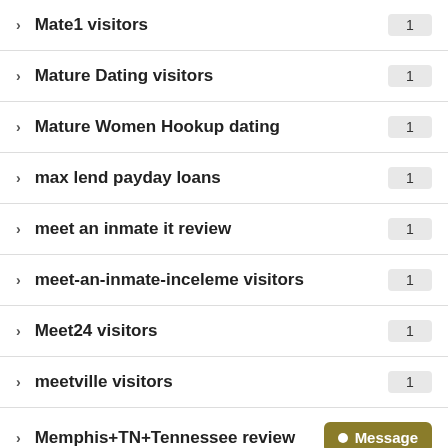Mate1 visitors — 1
Mature Dating visitors — 1
Mature Women Hookup dating — 1
max lend payday loans — 1
meet an inmate it review — 1
meet-an-inmate-inceleme visitors — 1
Meet24 visitors — 1
meetville visitors — 1
Memphis+TN+Tennessee review